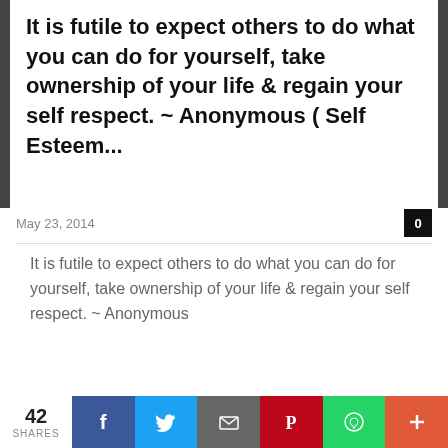It is futile to expect others to do what you can do for yourself, take ownership of your life & regain your self respect. ~ Anonymous ( Self Esteem...
May 23, 2014
0
It is futile to expect others to do what you can do for yourself, take ownership of your life & regain your self respect. ~ Anonymous
Read more
[Figure (photo): Background image with quote text: REMEMBER THAT YOUR PRESENCE IS A PRESENT. IF SOMEONE DOESN'T APPRECIATE IT...]
42 SHARES